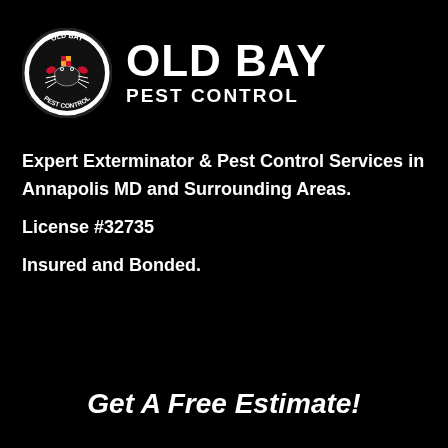[Figure (logo): Old Bay Pest Control logo: circular badge with a crab illustration surrounded by text 'OLD BAY PEST CONTROL', next to bold white uppercase text 'OLD BAY PEST CONTROL']
Expert Exterminator & Pest Control Services in Annapolis MD and Surrounding Areas.
License #32735
Insured and Bonded.
Get A Free Estimate!